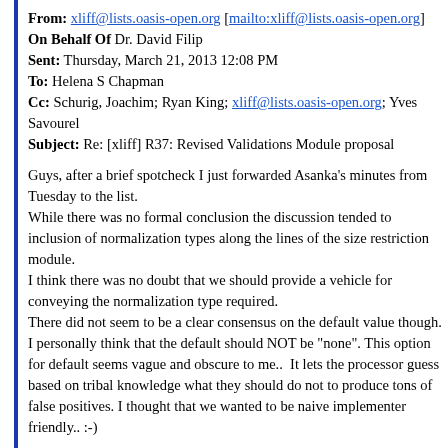From: xliff@lists.oasis-open.org [mailto:xliff@lists.oasis-open.org] On Behalf Of Dr. David Filip
Sent: Thursday, March 21, 2013 12:08 PM
To: Helena S Chapman
Cc: Schurig, Joachim; Ryan King; xliff@lists.oasis-open.org; Yves Savourel
Subject: Re: [xliff] R37: Revised Validations Module proposal
Guys, after a brief spotcheck I just forwarded Asanka's minutes from Tuesday to the list.
While there was no formal conclusion the discussion tended to inclusion of normalization types along the lines of the size restriction module.
I think there was no doubt that we should provide a vehicle for conveying the normalization type required.
There did not seem to be a clear consensus on the default value though. I personally think that the default should NOT be "none". This option for default seems vague and obscure to me..  It lets the processor guess based on tribal knowledge what they should do not to produce tons of false positives. I thought that we wanted to be naive implementer friendly.. :-)
Cheers
dF